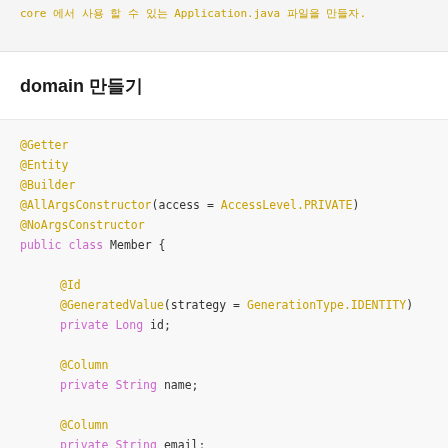core 에서 사용 할 수 있는 Application.java 파일을 만들자.
domain 만들기
@Getter
@Entity
@Builder
@AllArgsConstructor(access = AccessLevel.PRIVATE)
@NoArgsConstructor
public class Member {

    @Id
    @GeneratedValue(strategy = GenerationType.IDENTITY)
    private Long id;

    @Column
    private String name;

    @Column
    private String email;

    @Column